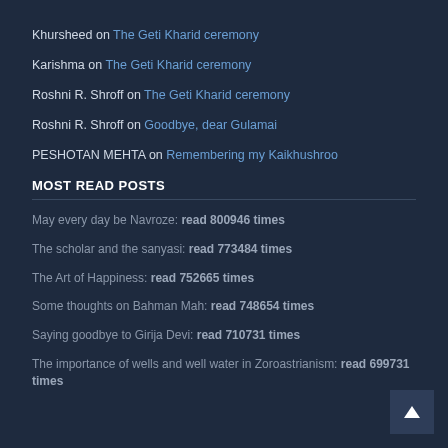Khursheed on The Geti Kharid ceremony
Karishma on The Geti Kharid ceremony
Roshni R. Shroff on The Geti Kharid ceremony
Roshni R. Shroff on Goodbye, dear Gulamai
PESHOTAN MEHTA on Remembering my Kaikhushroo
MOST READ POSTS
May every day be Navroze: read 800946 times
The scholar and the sanyasi: read 773484 times
The Art of Happiness: read 752665 times
Some thoughts on Bahman Mah: read 748654 times
Saying goodbye to Girija Devi: read 710731 times
The importance of wells and well water in Zoroastrianism: read 699731 times